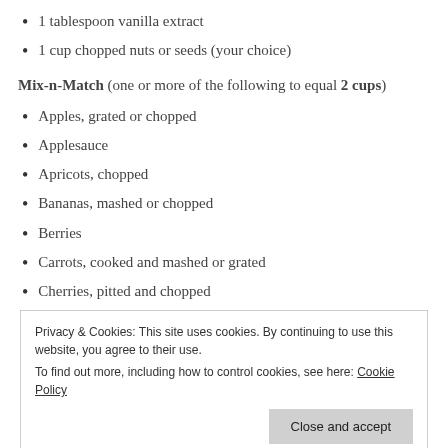1 tablespoon vanilla extract
1 cup chopped nuts or seeds (your choice)
Mix-n-Match (one or more of the following to equal 2 cups)
Apples, grated or chopped
Applesauce
Apricots, chopped
Bananas, mashed or chopped
Berries
Carrots, cooked and mashed or grated
Cherries, pitted and chopped
Privacy & Cookies: This site uses cookies. By continuing to use this website, you agree to their use. To find out more, including how to control cookies, see here: Cookie Policy
Oranges, chopped